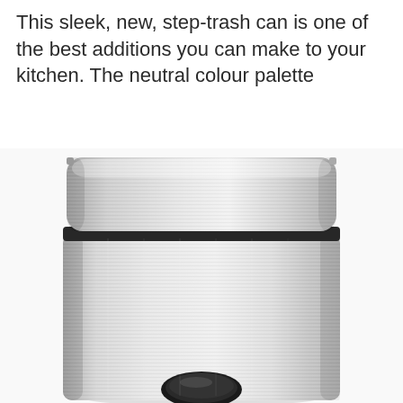This sleek, new, step-trash can is one of the best additions you can make to your kitchen. The neutral colour palette
[Figure (photo): A stainless steel step-trash can with a brushed silver finish and black trim around the lid. The body is rectangular with rounded top corners. The step pedal mechanism is partially visible at the bottom.]